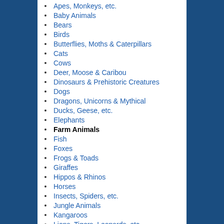Apes, Monkeys, etc.
Baby Animals
Bears
Birds
Butterflies, Moths & Caterpillars
Cats
Cows
Deer, Moose & Caribou
Dinosaurs & Prehistoric Creatures
Dogs
Dragons, Unicorns & Mythical
Ducks, Geese, etc.
Elephants
Farm Animals
Fish
Foxes
Frogs & Toads
Giraffes
Hippos & Rhinos
Horses
Insects, Spiders, etc.
Jungle Animals
Kangaroos
Lions, Tigers, Leopards, etc.
Mammals
Marine life...